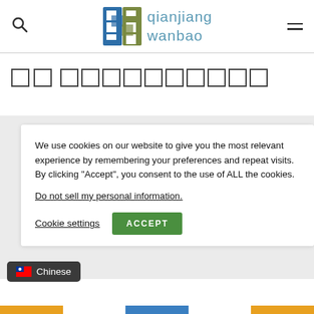[Figure (logo): Qianjiang Wanbao newspaper logo with stylized QW emblem in blue and olive green, and text 'qianjiang wanbao' in teal]
□□ □□□□□□□□□□
We use cookies on our website to give you the most relevant experience by remembering your preferences and repeat visits. By clicking “Accept”, you consent to the use of ALL the cookies.
Do not sell my personal information.
Cookie settings
ACCEPT
Chinese